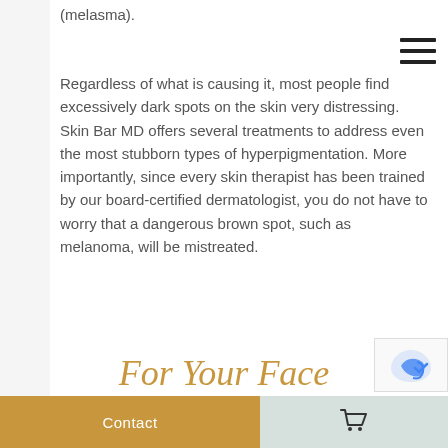(melasma).
Regardless of what is causing it, most people find excessively dark spots on the skin very distressing. Skin Bar MD offers several treatments to address even the most stubborn types of hyperpigmentation. More importantly, since every skin therapist has been trained by our board-certified dermatologist, you do not have to worry that a dangerous brown spot, such as melanoma, will be mistreated.
For Your Face
Signature Peptide
Contact